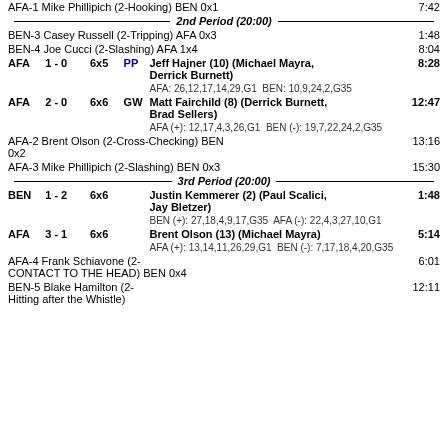AFA-1 Mike Phillipich (2-Hooking) BEN 0x1   7:42
2nd Period (20:00)
BEN-3 Casey Russell (2-Tripping) AFA 0x3   1:48
BEN-4 Joe Cucci (2-Slashing) AFA 1x4   8:04
AFA 1 - 0 6x5 PP LL  Jeff Hajner (10) (Michael Mayra, Derrick Burnett)  8:28
AFA: 26,12,17,14,29,G1   BEN: 10,9,24,2,G35
AFA 2 - 0 6x6 GW  Matt Fairchild (8) (Derrick Burnett, Brad Sellers)  12:47
AFA (+): 12,17,4,3,26,G1   BEN (-): 19,7,22,24,2,G35
AFA-2 Brent Olson (2-Cross-Checking) BEN 0x2   13:16
AFA-3 Mike Phillipich (2-Slashing) BEN 0x3   15:30
3rd Period (20:00)
BEN 1 - 2 6x6  Justin Kemmerer (2) (Paul Scalici, Jay Bletzer)  1:48
BEN (+): 27,18,4,9,17,G35   AFA (-): 22,4,3,27,10,G1
AFA 3 - 1 6x6  Brent Olson (13) (Michael Mayra)  5:14
AFA (+): 13,14,11,26,29,G1   BEN (-): 7,17,18,4,20,G35
AFA-4 Frank Schiavone (2-CONTACT TO THE HEAD) BEN 0x4   6:01
BEN-5 Blake Hamilton (2-Hitting after the Whistle)   12:11